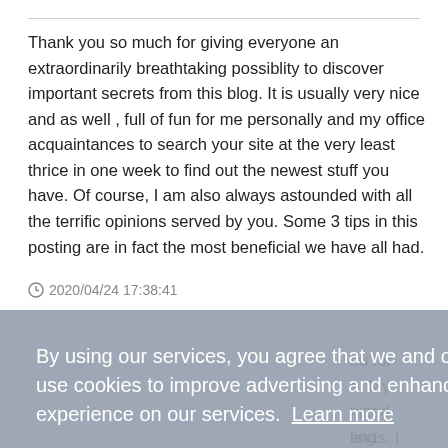Thank you so much for giving everyone an extraordinarily breathtaking possiblity to discover important secrets from this blog. It is usually very nice and as well , full of fun for me personally and my office acquaintances to search your site at the very least thrice in one week to find out the newest stuff you have. Of course, I am also always astounded with all the terrific opinions served by you. Some 3 tips in this posting are in fact the most beneficial we have all had.
2020/04/24 17:38:41
[Figure (screenshot): Cookie consent overlay banner with text: 'By using our services, you agree that we and our [partners] use cookies to improve advertising and enhance your experience on our services. Learn more' and an OK button.]
ou for e. My nized ends. I ling e seen mes